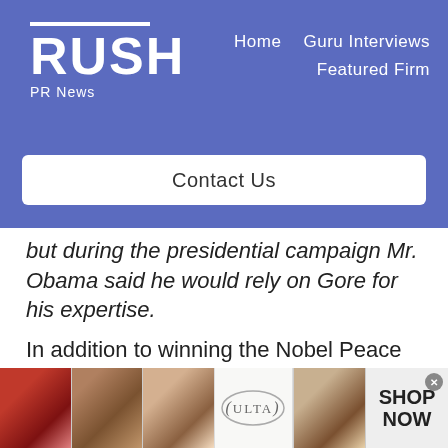RUSH PR News — Home | Guru Interviews | Featured Firm
Contact Us
but during the presidential campaign Mr. Obama said he would rely on Gore for his expertise.
In addition to winning the Nobel Peace Prize, Gore created and starred in an award-winning climate change documentary, An Inconvenient Truth. He also served
[Figure (photo): Advertisement banner featuring beauty/cosmetics imagery with Ulta Beauty logo and SHOP NOW call to action]